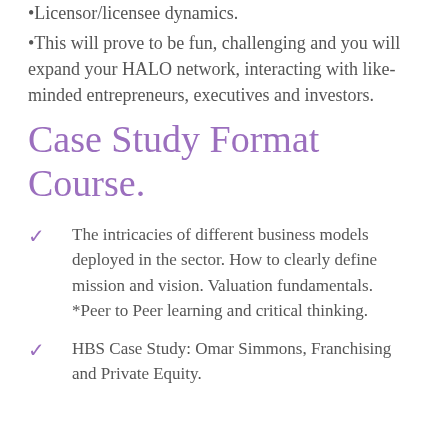•Licensor/licensee dynamics.
•This will prove to be fun, challenging and you will expand your HALO network, interacting with like-minded entrepreneurs, executives and investors.
Case Study Format Course.
The intricacies of different business models deployed in the sector. How to clearly define mission and vision. Valuation fundamentals.
*Peer to Peer learning and critical thinking.
HBS Case Study: Omar Simmons, Franchising and Private Equity.